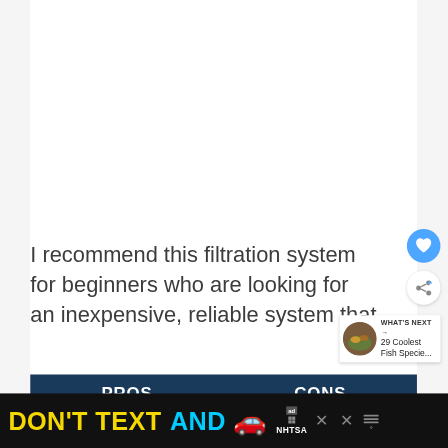I recommend this filtration system for beginners who are looking for an inexpensive, reliable system that
[Figure (screenshot): UI buttons: heart/like button (blue circle with heart icon) and share button (white circle with share icon)]
[Figure (infographic): What's Next widget showing thumbnail image of fish and text '29 Coolest Fish Specie...']
PROS
CONS
[Figure (screenshot): NHTSA advertisement banner: 'DON'T TEXT AND' with car emoji, ad badge, NHTSA logo, and close buttons]